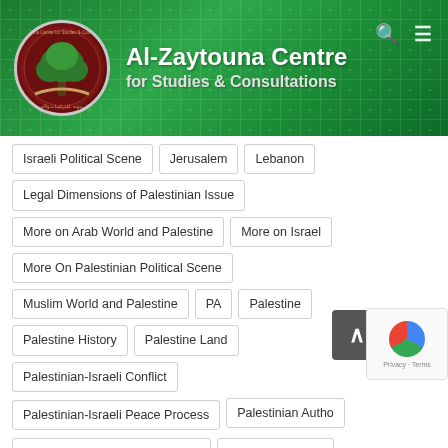[Figure (logo): Al-Zaytouna Centre for Studies & Consultations website header with logo, organization name, search icon, and menu icon on a green background]
Israeli Political Scene
Jerusalem
Lebanon
Legal Dimensions of Palestinian Issue
More on Arab World and Palestine
More on Israel
More On Palestinian Political Scene
Muslim World and Palestine
PA
Palestine
Palestine History
Palestine Land
Palestinian-Israeli Conflict
Palestinian-Israeli Peace Process
Palestinian Authority
Palestinian Economic Indicators
Palestinian Issue